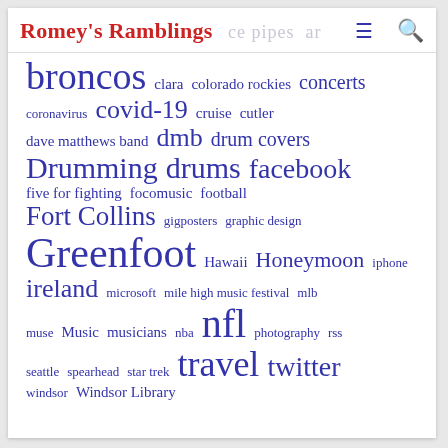Romey's Ramblings
[Figure (infographic): Tag cloud with words in varying sizes representing blog topics: broncos, clara, colorado rockies, concerts, coronavirus, covid-19, cruise, cutler, dave matthews band, dmb, drum covers, Drumming, drums, facebook, five for fighting, focomusic, football, Fort Collins, gigposters, graphic design, Greenfoot, Hawaii, Honeymoon, iphone, ireland, microsoft, mile high music festival, mlb, muse, Music, musicians, nba, nfl, photography, rss, seattle, spearhead, star trek, travel, twitter, windsor, Windsor Library]